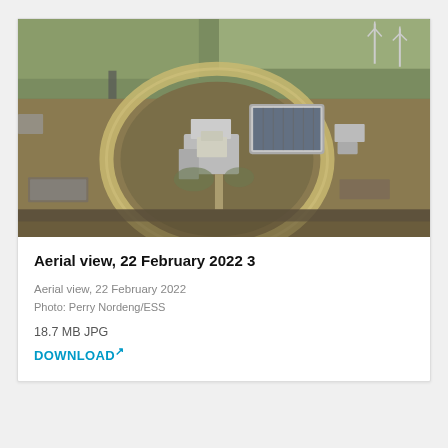[Figure (photo): Aerial photograph of the European Spallation Source (ESS) facility in Lund, Sweden, showing a large circular accelerator ring and surrounding buildings, taken on 22 February 2022. Photo by Perry Nordeng/ESS.]
Aerial view, 22 February 2022 3
Aerial view, 22 February 2022
Photo: Perry Nordeng/ESS
18.7 MB JPG
DOWNLOAD